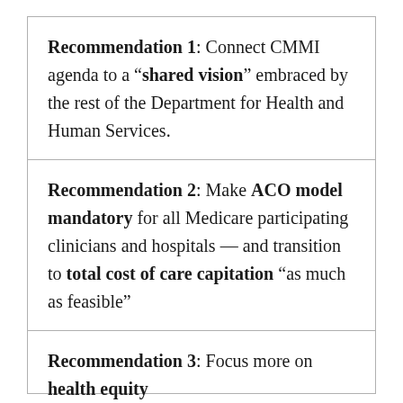Recommendation 1: Connect CMMI agenda to a “shared vision” embraced by the rest of the Department for Health and Human Services.
Recommendation 2: Make ACO model mandatory for all Medicare participating clinicians and hospitals — and transition to total cost of care capitation “as much as feasible”
Recommendation 3: Focus more on health equity